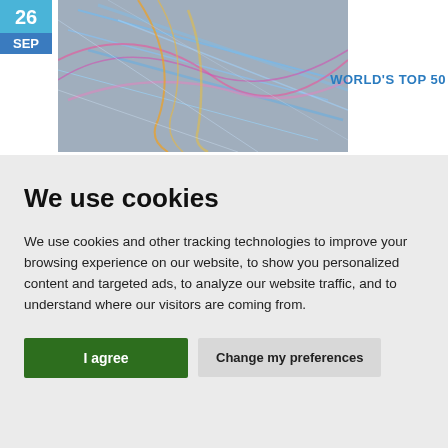26
SEP
[Figure (photo): Abstract colorful light streaks image — pink, blue, orange on grey background]
WORLD'S TOP 50
We use cookies
We use cookies and other tracking technologies to improve your browsing experience on our website, to show you personalized content and targeted ads, to analyze our website traffic, and to understand where our visitors are coming from.
I agree
Change my preferences